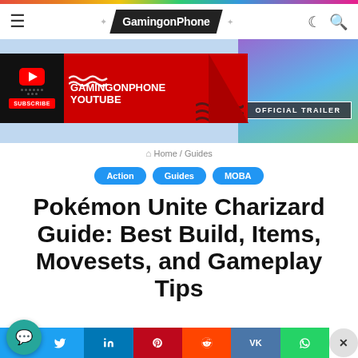GamingonPhone
[Figure (screenshot): GamingonPhone YouTube channel banner with red background, YouTube logo, subscribe button, and GAMINGONPHONE YOUTUBE text]
[Figure (screenshot): Official Trailer panel with purple/blue/green game art background and OFFICIAL TRAILER badge]
Home / Guides
Action
Guides
MOBA
Pokémon Unite Charizard Guide: Best Build, Items, Movesets, and Gameplay Tips